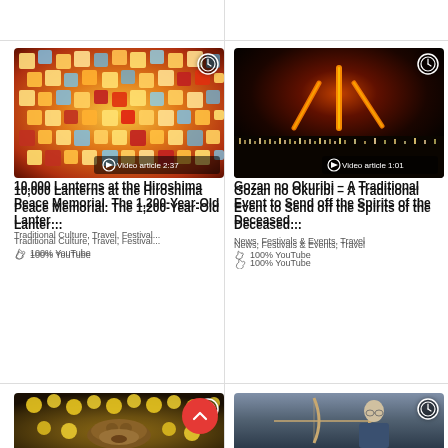[Figure (photo): Colorful paper lanterns floating on water at Hiroshima Peace Memorial]
Video article 2:37
10,000 Lanterns at the Hiroshima Peace Memorial. The 1,200-Year-Old Lanter…
Traditional Culture,  Travel,  Festival...
100%  YouTube
[Figure (photo): Gozan no Okuribi fire kanji burning on a mountain at night]
Video article 1:01
Gozan no Okuribi – A Traditional Event to Send off the Spirits of the Deceased…
News,  Festivals & Events,  Travel
100%  YouTube
[Figure (photo): Capybara bathing in water with yuzu citrus fruits floating around it]
[Figure (photo): Elderly man in traditional Japanese kimono practicing kyudo archery]